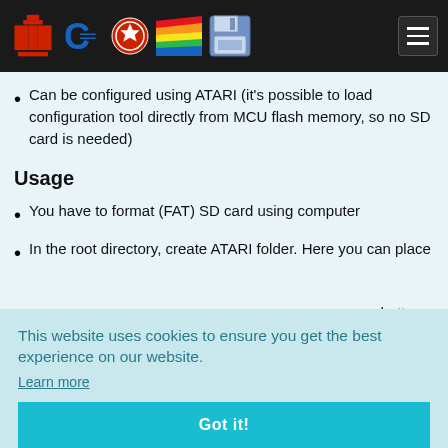Navigation bar with Atari, Commodore, and other retro computing icons
Can be configured using ATARI (it's possible to load configuration tool directly from MCU flash memory, so no SD card is needed)
Usage
You have to format (FAT) SD card using computer
In the root directory, create ATARI folder. Here you can place [content partially obscured by cookie banner]
This website uses cookies to ensure you get the best experience on our website.
Learn more
Got it!